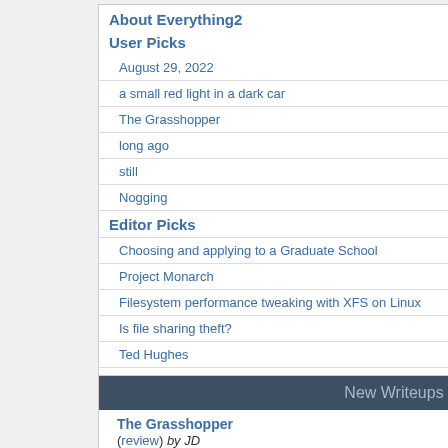About Everything2
User Picks
August 29, 2022
a small red light in a dark car
The Grasshopper
long ago
still
Nogging
Editor Picks
Choosing and applying to a Graduate School
Project Monarch
Filesystem performance tweaking with XFS on Linux
Is file sharing theft?
Ted Hughes
Asian carp invasion
New Writeups
The Grasshopper
(review) by JD
Saint Martin's Summer
(thing) by Clockmaker
September 1, 2022
(personal) by wertperch